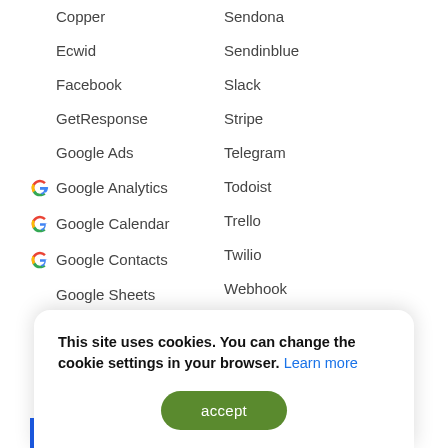Copper
Ecwid
Facebook
GetResponse
Google Ads
Google Analytics
Google Calendar
Google Contacts
Google Sheets
Hubspot
Intercom
Jira Service Desk
Jira Software Cloud
Sendona
Sendinblue
Slack
Stripe
Telegram
Todoist
Trello
Twilio
Webhook
Wrike
Zoho CRM
iCloud
This site uses cookies. You can change the cookie settings in your browser. Learn more
accept